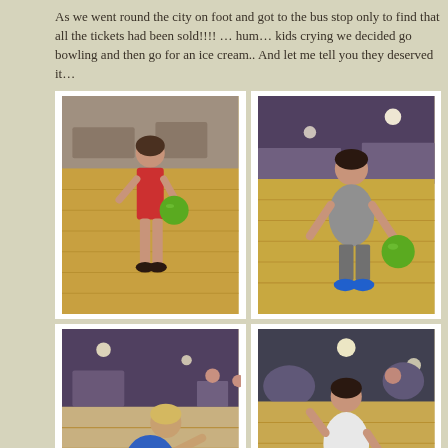As we went round the city on foot and got to the bus stop only to find that all the tickets had been sold!!!! … hum… kids crying we decided go bowling and then go for an ice cream.. And let me tell you they deserved it…
[Figure (photo): Girl in red dress holding a green bowling ball at a bowling alley]
[Figure (photo): Boy in gray shirt bowling with a green ball at a bowling alley]
[Figure (photo): Young child in blue shirt bending down to bowl at a bowling alley]
[Figure (photo): Boy in colorful shorts bowling at a bowling alley]